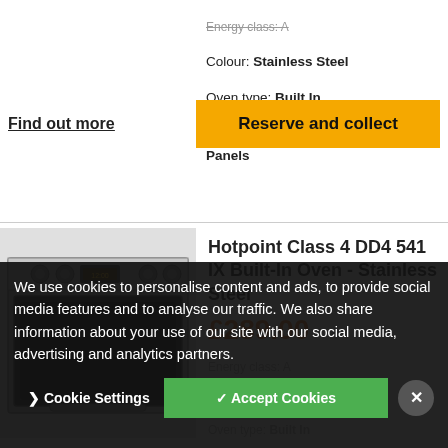Energy class: A
Colour: Stainless Steel
Oven type: Built In
Cleaning technology: Catalytic With Panels
Find out more
Reserve and collect
Hotpoint Class 4 DD4 541 IX Built-In Oven - Stainless Steel
£289.00
Energy class: A
Colour: Stainless Steel
Oven type: Built In
Cleaning:
We use cookies to personalise content and ads, to provide social media features and to analyse our traffic. We also share information about your use of our site with our social media, advertising and analytics partners.
Cookie Settings
✓ Accept Cookies
[Figure (photo): Hotpoint built-in oven, stainless steel front with black glass door, dial controls on top]